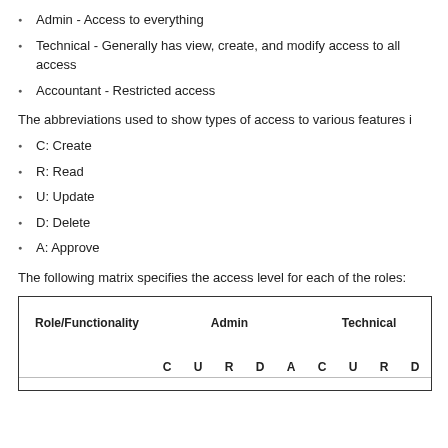Admin - Access to everything
Technical - Generally has view, create, and modify access to all access
Accountant - Restricted access
The abbreviations used to show types of access to various features i
C: Create
R: Read
U: Update
D: Delete
A: Approve
The following matrix specifies the access level for each of the roles:
| Role/Functionality | Admin C | Admin U | Admin R | Admin D | Admin A | Technical C | Technical U | Technical R | Technical D |
| --- | --- | --- | --- | --- | --- | --- | --- | --- | --- |